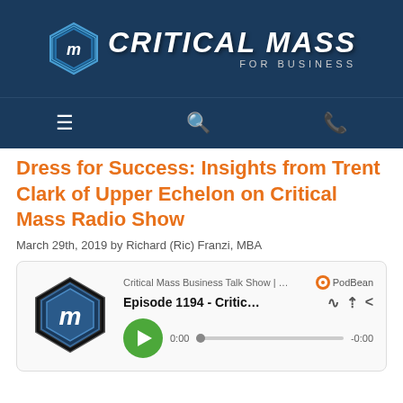[Figure (logo): Critical Mass for Business logo with hexagonal icon and white text on dark blue background]
[Figure (screenshot): Navigation bar with hamburger menu, search, and phone icons on dark blue background]
Dress for Success: Insights from Trent Clark of Upper Echelon on Critical Mass Radio Show
March 29th, 2019 by Richard (Ric) Franzi, MBA
[Figure (screenshot): PodBean podcast player widget showing Episode 1194 - Critic... with play button, 0:00 time, and progress bar]